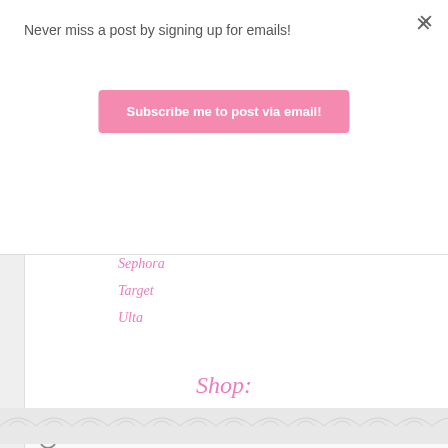Never miss a post by signing up for emails!
Subscribe me to post via email!
Madewell
Nordstrom
Old Navy
Pottery Barn
Sephora
Target
Ulta
Shop: